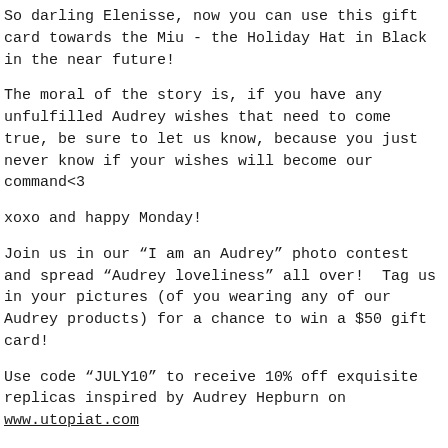So darling Elenisse, now you can use this gift card towards the Miu - the Holiday Hat in Black in the near future!
The moral of the story is, if you have any unfulfilled Audrey wishes that need to come true, be sure to let us know, because you just never know if your wishes will become our command<3
xoxo and happy Monday!
Join us in our “I am an Audrey” photo contest and spread “Audrey loveliness” all over!  Tag us in your pictures (of you wearing any of our Audrey products) for a chance to win a $50 gift card!
Use code “JULY10” to receive 10% off exquisite replicas inspired by Audrey Hepburn on www.utopiat.com